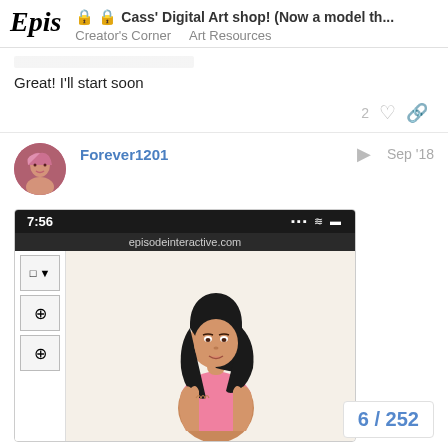Epis 🔒🔒 Cass' Digital Art shop! (Now a model th... Creator's Corner  Art Resources
Great! I'll start soon
[Figure (screenshot): Forum post by user Forever1201 dated Sep '18, containing a screenshot of the Episode interactive app showing a female character with dark hair wearing a pink top, with toolbar icons on the left and a black status bar at top showing 7:56 and episodeinteractive.com]
6 / 252